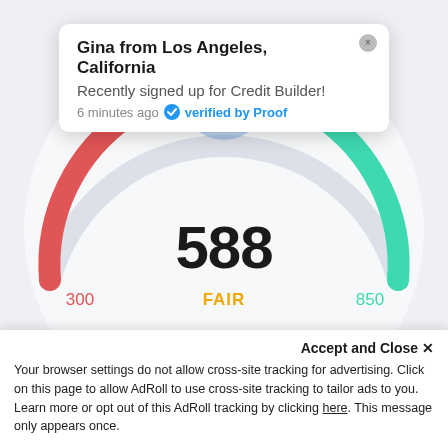[Figure (other): Credit score gauge showing score of 588 rated FAIR, with red arc on left (300) and teal arc on right (850), blue circular indicator at top center]
Gina from Los Angeles, California
Recently signed up for Credit Builder!
6 minutes ago  verified by Proof
588
300
FAIR
850
How it works
Accept and Close ×
Your browser settings do not allow cross-site tracking for advertising. Click on this page to allow AdRoll to use cross-site tracking to tailor ads to you. Learn more or opt out of this AdRoll tracking by clicking here. This message only appears once.